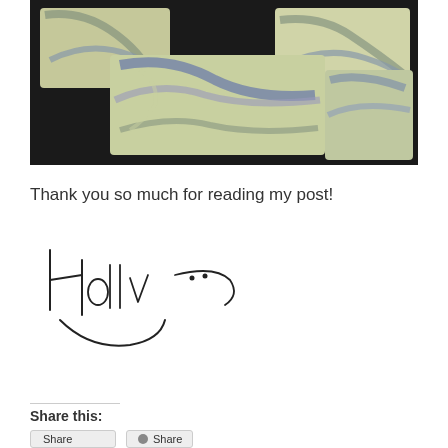[Figure (photo): Photograph of several artisan handmade soap bars with swirled patterns in cream, grey-blue, and olive/green colors on a dark background]
Thank you so much for reading my post!
[Figure (illustration): Handwritten signature reading 'Holly' with a smiley face drawn in the signature]
Share this:
[Share buttons]